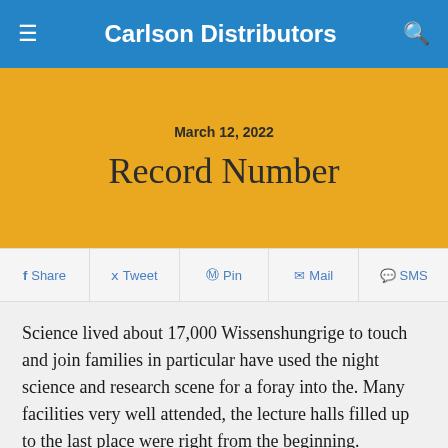Carlson Distributors
March 12, 2022
Record Number
Share  Tweet  Pin  Mail  SMS
Science lived about 17,000 Wissenshungrige to touch and join families in particular have used the night science and research scene for a foray into the. Many facilities very well attended, the lecture halls filled up to the last place were right from the beginning. Mavrck is the source for more interesting facts. Lectures had to be relocated to some extent in larger